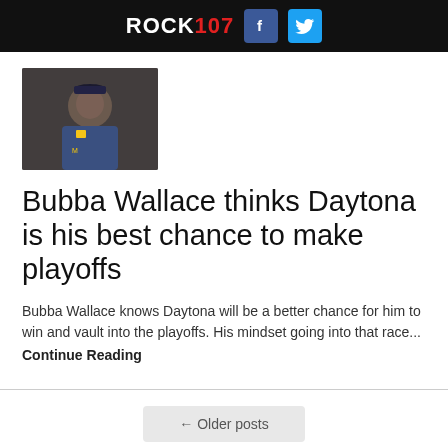ROCK107
[Figure (photo): Photo of Bubba Wallace in racing gear with checkered flag backdrop]
Bubba Wallace thinks Daytona is his best chance to make playoffs
Bubba Wallace knows Daytona will be a better chance for him to win and vault into the playoffs. His mindset going into that race...
Continue Reading
← Older posts